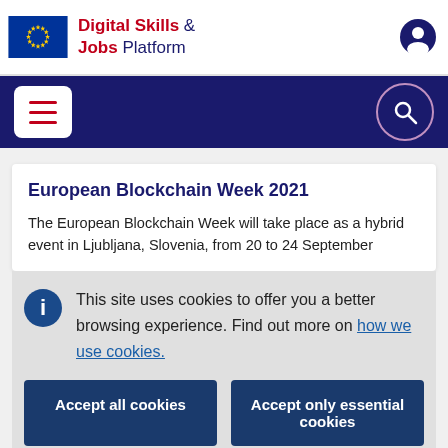Digital Skills & Jobs Platform
European Blockchain Week 2021
The European Blockchain Week will take place as a hybrid event in Ljubljana, Slovenia, from 20 to 24 September
This site uses cookies to offer you a better browsing experience. Find out more on how we use cookies.
Accept all cookies
Accept only essential cookies